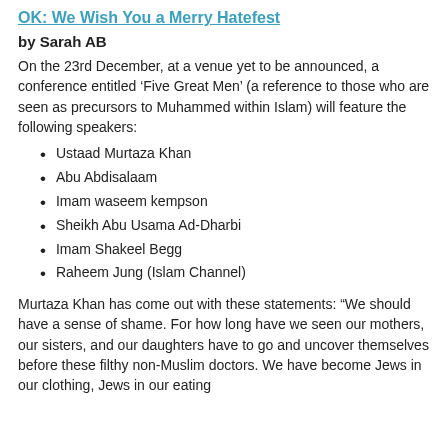OK: We Wish You a Merry Hatefest
by Sarah AB
On the 23rd December, at a venue yet to be announced, a conference entitled ‘Five Great Men’ (a reference to those who are seen as precursors to Muhammed within Islam) will feature the following speakers:
Ustaad Murtaza Khan
Abu Abdisalaam
Imam waseem kempson
Sheikh Abu Usama Ad-Dharbi
Imam Shakeel Begg
Raheem Jung (Islam Channel)
Murtaza Khan has come out with these statements: “We should have a sense of shame. For how long have we seen our mothers, our sisters, and our daughters have to go and uncover themselves before these filthy non-Muslim doctors. We have become Jews in our clothing, Jews in our eating